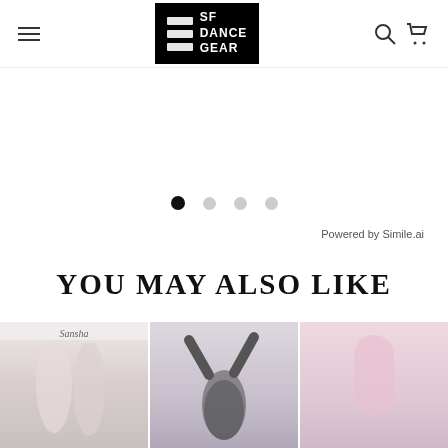SF Dance Gear
[Figure (other): Carousel pagination dots — one filled (active), three outlined]
Powered by Simile.ai
YOU MAY ALSO LIKE
[Figure (photo): Three product cards showing dance apparel/legwear items. First card shows white/pink leggings with 'Sansha' brand label. Second card shows a dancer in dark leggings with legs raised. Third card shows pink/light colored dancewear.]